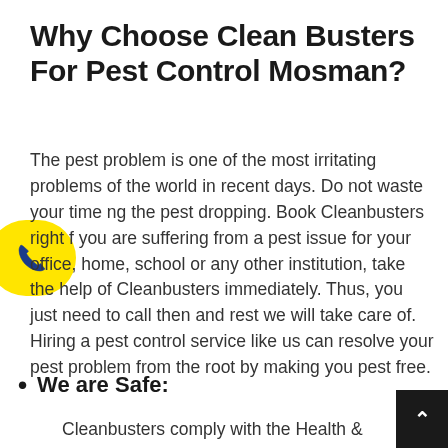Why Choose Clean Busters For Pest Control Mosman?
The pest problem is one of the most irritating problems of the world in recent days. Do not waste your time ng the pest dropping. Book Cleanbusters right f you are suffering from a pest issue for your office, home, school or any other institution, take the help of Cleanbusters immediately. Thus, you just need to call then and rest we will take care of. Hiring a pest control service like us can resolve your pest problem from the root by making you pest free.
We are Safe:
Cleanbusters comply with the Health & Safety A